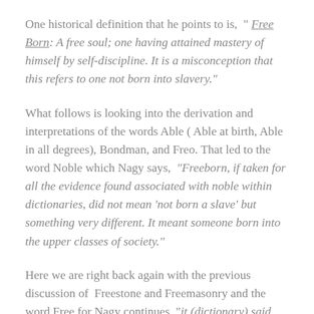One historical definition that he points to is, “ Free Born: A free soul; one having attained mastery of himself by self-discipline. It is a misconception that this refers to one not born into slavery.”
What follows is looking into the derivation and interpretations of the words Able ( Able at birth, Able in all degrees), Bondman, and Freo. That led to the word Noble which Nagy says, “Freeborn, if taken for all the evidence found associated with noble within dictionaries, did not mean ‘not born a slave’ but something very different. It meant someone born into the upper classes of society.”
Here we are right back again with the previous discussion of  Freestone and Freemasonry and the word Free for Nagy continues, “it (dictionary) said